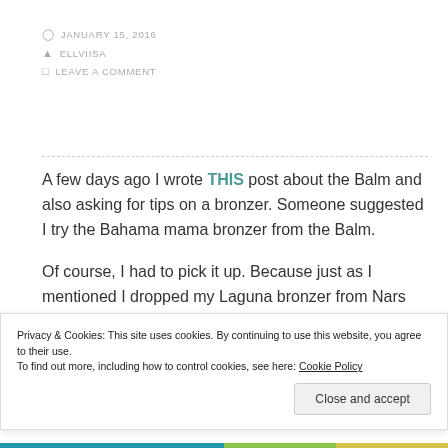JANUARY 15, 2016
ELLVIISA
LEAVE A COMMENT
A few days ago I wrote THIS post about the Balm and also asking for tips on a bronzer. Someone suggested I try the Bahama mama bronzer from the Balm.
Of course, I had to pick it up. Because just as I mentioned I dropped my Laguna bronzer from Nars and it broke.
Privacy & Cookies: This site uses cookies. By continuing to use this website, you agree to their use.
To find out more, including how to control cookies, see here: Cookie Policy
Close and accept